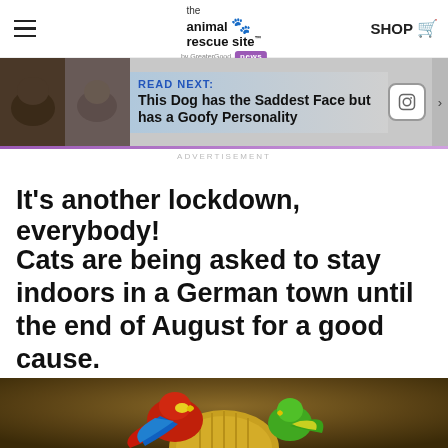the animal rescue site by GreaterGood news | SHOP
[Figure (screenshot): Banner showing dog photos and text 'READ NEXT: This Dog has the Saddest Face but has a Goofy Personality']
ADVERTISEMENT
It's another lockdown, everybody!
Cats are being asked to stay indoors in a German town until the end of August for a good cause.
[Figure (photo): Photo of colorful parrots (macaw and parrot) perched on a golden birdcage]